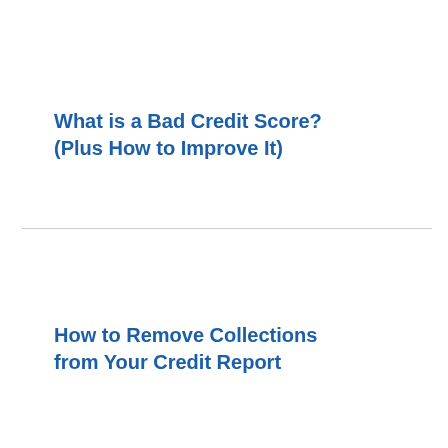What is a Bad Credit Score? (Plus How to Improve It)
How to Remove Collections from Your Credit Report